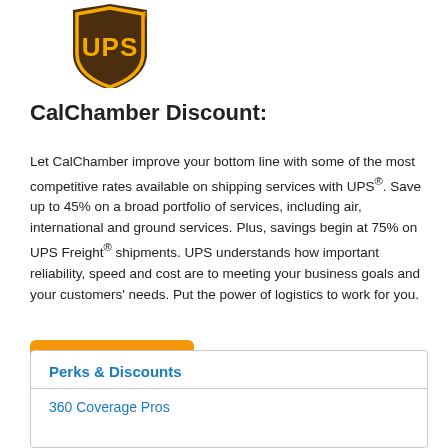[Figure (logo): UPS logo — brown shield shape with gold UPS letters and gold border, registered trademark]
CalChamber Discount:
Let CalChamber improve your bottom line with some of the most competitive rates available on shipping services with UPS®. Save up to 45% on a broad portfolio of services, including air, international and ground services. Plus, savings begin at 75% on UPS Freight® shipments. UPS understands how important reliability, speed and cost are to meeting your business goals and your customers' needs. Put the power of logistics to work for you.
Learn More
Perks & Discounts
360 Coverage Pros